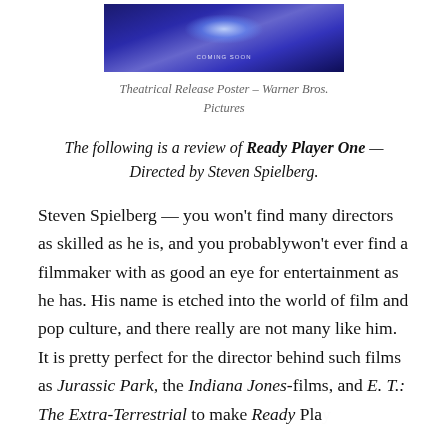[Figure (photo): Theatrical release poster for Ready Player One — Warner Bros. Pictures, showing a blue glowing sci-fi scene with 'COMING SOON' text]
Theatrical Release Poster – Warner Bros. Pictures
The following is a review of Ready Player One — Directed by Steven Spielberg.
Steven Spielberg — you won't find many directors as skilled as he is, and you probablywon't ever find a filmmaker with as good an eye for entertainment as he has. His name is etched into the world of film and pop culture, and there really are not many like him. It is pretty perfect for the director behind such films as Jurassic Park, the Indiana Jones-films, and E. T.: The Extra-Terrestrial to make Ready Player One, a film that made its mark in pop culture.